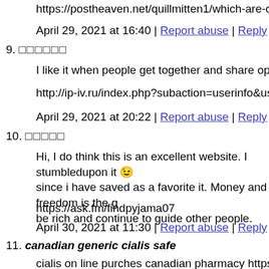https://postheaven.net/quillmitten1/which-are-online-blackjack
April 29, 2021 at 16:40 | Report abuse | Reply
9. □□□□□□
I like it when people get together and share opinions. Great blo
http://ip-iv.ru/index.php?subaction=userinfo&user=johnsmell0
April 29, 2021 at 20:22 | Report abuse | Reply
10. □□□□□
Hi, I do think this is an excellent website. I stumbledupon it 😉 since i have saved as a favorite it. Money and freedom is the g be rich and continue to guide other people.
https://ask.fm/findpyjama07
April 30, 2021 at 11:30 | Report abuse | Reply
11. canadian generic cialis safe
cialis on line purches canadian pharmacy https://canadacialisst canadian
April 30, 2021 at 22:42 | Report abuse | Reply
12. □□□□□□